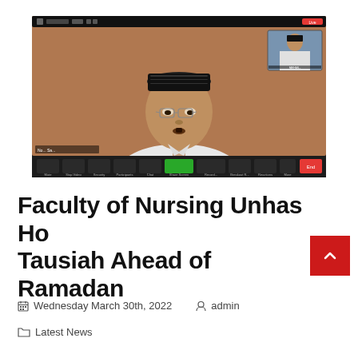[Figure (screenshot): A Zoom video call screenshot showing a man wearing a black peci (Muslim cap) and glasses with a white shirt, in the main view. A small thumbnail in the top-right corner shows another participant. The Zoom toolbar is visible at the bottom.]
Faculty of Nursing Unhas Ho Tausiah Ahead of Ramadan
Wednesday March 30th, 2022   admin
Latest News